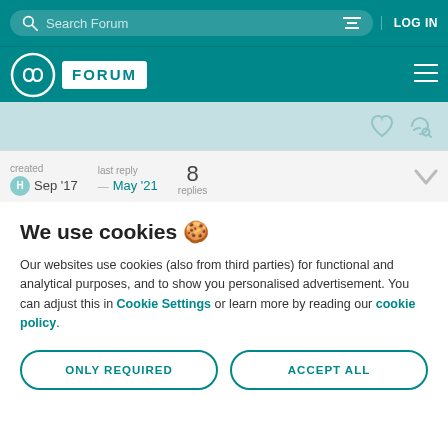Search Forum | LOG IN
FORUM (Arduino logo)
created Sep '17  last reply → May '21  8 replies
We use cookies 🍪
Our websites use cookies (also from third parties) for functional and analytical purposes, and to show you personalised advertisement. You can adjust this in Cookie Settings or learn more by reading our cookie policy.
ONLY REQUIRED | ACCEPT ALL